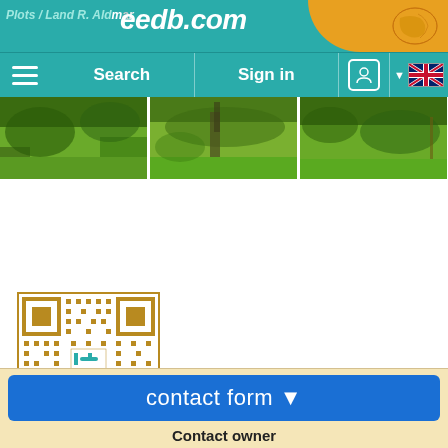Plots / Land R. Aldmar - eedb.com
[Figure (screenshot): Navigation bar with Search, Sign in, user icon, and UK flag language selector on teal background]
[Figure (photo): Three landscape photos of green vegetation/land plots side by side]
[Figure (other): QR code for the listing]
contact form ▼
Contact owner